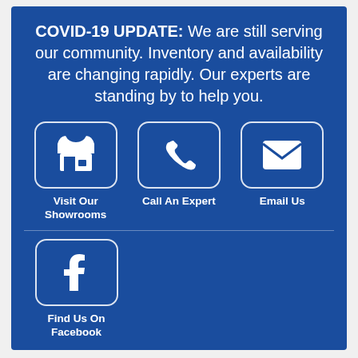COVID-19 UPDATE: We are still serving our community. Inventory and availability are changing rapidly. Our experts are standing by to help you.
[Figure (infographic): Four icon buttons on blue background: store/showroom icon labeled 'Visit Our Showrooms', phone icon labeled 'Call An Expert', email envelope icon labeled 'Email Us', and Facebook icon labeled 'Find Us On Facebook']